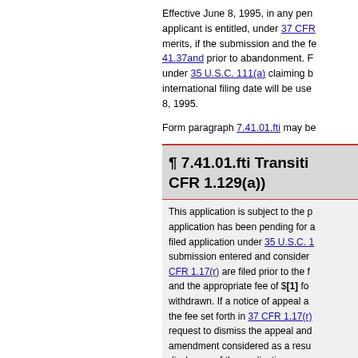Effective June 8, 1995, in any pen applicant is entitled, under 37 CFR merits, if the submission and the fe 41.37and prior to abandonment. F under 35 U.S.C. 111(a) claiming b international filing date will be use 8, 1995.
Form paragraph 7.41.01.fti may be
¶ 7.41.01.fti Transiti CFR 1.129(a))
This application is subject to the p application has been pending for a filed application under 35 U.S.C. 1 submission entered and consider CFR 1.17(r) are filed prior to the f and the appropriate fee of $[1] fo withdrawn. If a notice of appeal a the fee set forth in 37 CFR 1.17(r) request to dismiss the appeal and amendment considered as a resu disclosure of the application.
If applicant has filed multiple prop instructions for entry or non-entry